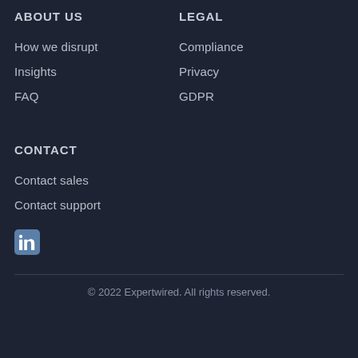ABOUT US
How we disrupt
Insights
FAQ
LEGAL
Compliance
Privacy
GDPR
CONTACT
Contact sales
Contact support
[Figure (logo): LinkedIn icon - blue rounded square with 'in' text]
© 2022 Expertwired. All rights reserved.